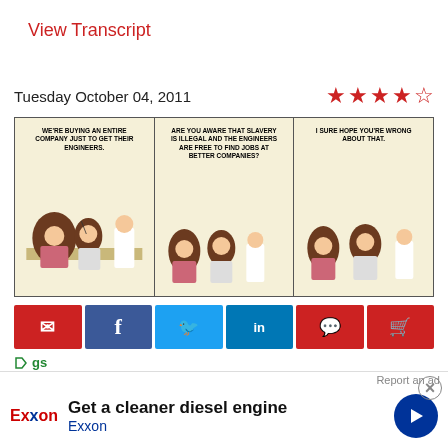View Transcript
Tuesday October 04, 2011
[Figure (illustration): Dilbert comic strip with three panels. Panel 1: Boss and employee at table, speech bubble reads 'WE'RE BUYING AN ENTIRE COMPANY JUST TO GET THEIR ENGINEERS.' Panel 2: Three characters standing, speech bubble reads 'ARE YOU AWARE THAT SLAVERY IS ILLEGAL AND THE ENGINEERS ARE FREE TO FIND JOBS AT BETTER COMPANIES?' Panel 3: Three characters, speech bubble reads 'I SURE HOPE YOU'RE WRONG ABOUT THAT.']
[Figure (infographic): Row of social sharing buttons: email (red), Facebook (blue), Twitter (blue), LinkedIn (blue), comment (red), cart (red)]
#commerce, #mergers & acquisitions, #slavery is illegal, #company
View Transcript
[Figure (other): Advertisement for Exxon: 'Get a cleaner diesel engine' with Exxon logo and blue arrow icon. Report an ad link and close button visible.]